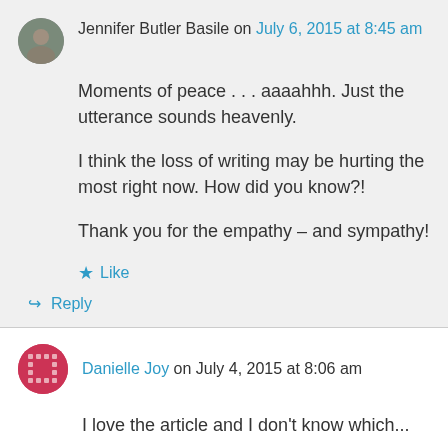[Figure (photo): Small circular avatar photo of Jennifer Butler Basile]
Jennifer Butler Basile on July 6, 2015 at 8:45 am
Moments of peace . . . aaaahhh. Just the utterance sounds heavenly.
I think the loss of writing may be hurting the most right now. How did you know?!
Thank you for the empathy – and sympathy!
Like
Reply
[Figure (logo): Small circular avatar icon for Danielle Joy with pink/red dotted grid pattern]
Danielle Joy on July 4, 2015 at 8:06 am